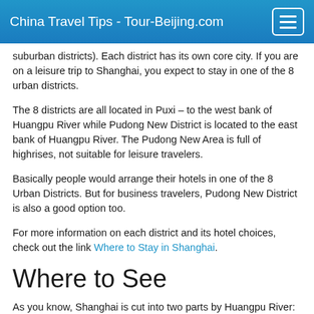China Travel Tips - Tour-Beijing.com
suburban districts). Each district has its own core city. If you are on a leisure trip to Shanghai, you expect to stay in one of the 8 urban districts.
The 8 districts are all located in Puxi – to the west bank of Huangpu River while Pudong New District is located to the east bank of Huangpu River. The Pudong New Area is full of highrises, not suitable for leisure travelers.
Basically people would arrange their hotels in one of the 8 Urban Districts. But for business travelers, Pudong New District is also a good option too.
For more information on each district and its hotel choices,  check out the link Where to Stay in Shanghai.
Where to See
As you know, Shanghai is cut into two parts by Huangpu River: Pudong ( to the east of  Huangpu River ) and Puxi ( to the west of the Huangpu River ). Most of the historical and scenic sites in